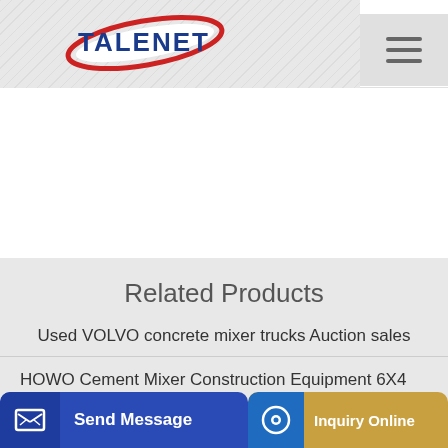[Figure (logo): TALENET company logo with red ellipse/swoosh and blue bold text]
Related Products
Used VOLVO concrete mixer trucks Auction sales
HOWO Cement Mixer Construction Equipment 6X4 Concrete
INTE
Send Message | Inquiry Online